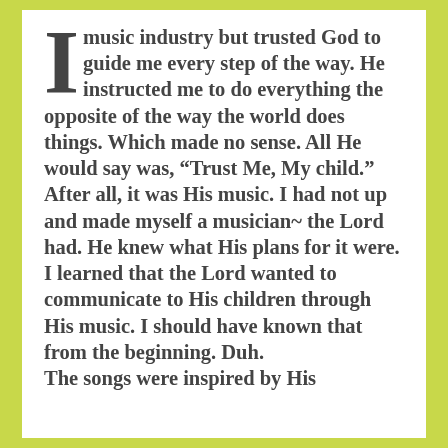I music industry but trusted God to guide me every step of the way. He instructed me to do everything the opposite of the way the world does things. Which made no sense. All He would say was, “Trust Me, My child.” After all, it was His music. I had not up and made myself a musician~ the Lord had. He knew what His plans for it were. I learned that the Lord wanted to communicate to His children through His music. I should have known that from the beginning. Duh. The songs were inspired by His